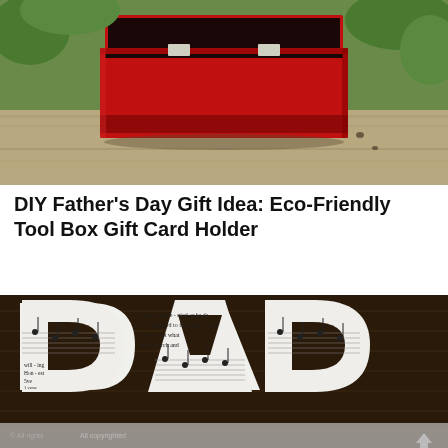[Figure (photo): A small red tool box with its lid open, sitting on a weathered wooden surface outdoors, with green foliage visible in the background.]
DIY Father's Day Gift Idea: Eco-Friendly Tool Box Gift Card Holder
[Figure (photo): A paper cutout of the word DAD made from sheet music, placed on a dark wood surface. The letters show musical notes and lyrics including text like 'can-not be de-nied or be de', 'try-ing hard to find what God’s', 'to ac-cept what', 'in its search and', 'will-ing', 'Hon-est', '5ve verse'.]